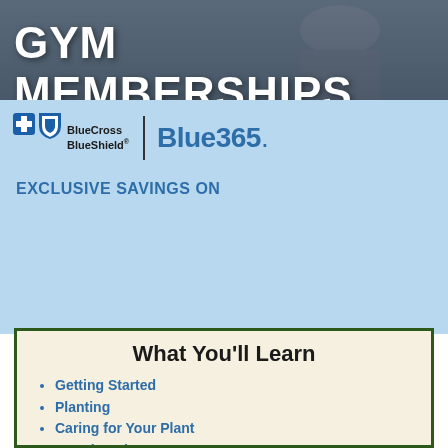GYM MEMBERSHIPS
[Figure (logo): BlueCross BlueShield and Blue365 logos side by side]
EXCLUSIVE SAVINGS ON
REGISTER FOR FREE
What You'll Learn
Getting Started
Planting
Caring for Your Plant
Growing Tips